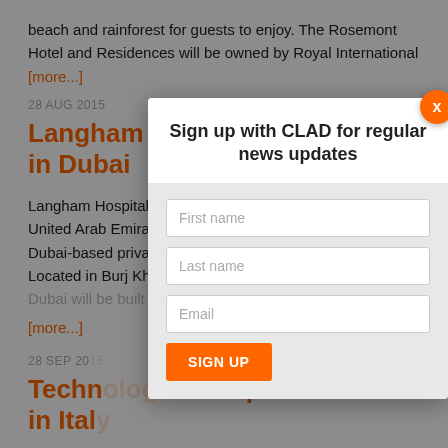beach and rainforest for guests to enjoy. The Rosemont Hotel and Residences will be owned by Royal International [more...]
28 AUG 2015
Langham opening luxury hotel in Dubai
Langham Hospitality Group is opening a luxury hotel in the United Arab Emirates in partnership with Omniyat, a Dubai-based privately-held real estate development group. Located in Burj Khalifa district, Langham ... [more...]
28 SEP 20...
Techn... mpus in Ital...
Former U... President... Village on 29 Se... more than 60 d... [more...]
Sign up with CLAD for regular news updates
First name
Last name
Email
SIGN UP